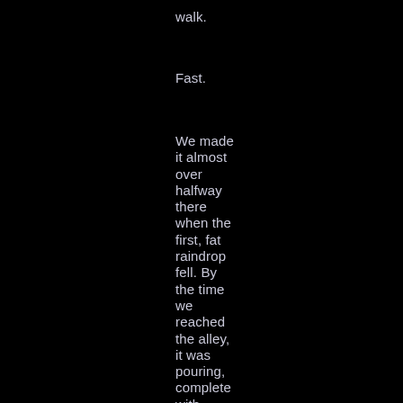walk.
Fast.
We made it almost over halfway there when the first, fat raindrop fell. By the time we reached the alley, it was pouring, complete with thunder and lightening. I motioned for him to follow me through the thick